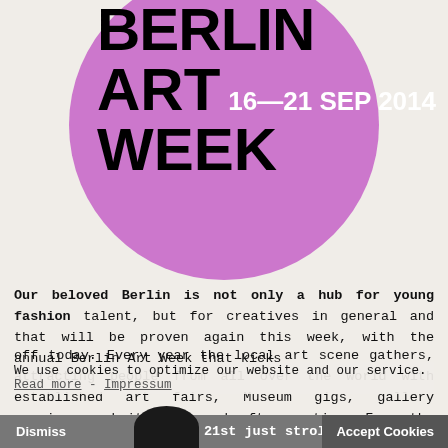[Figure (logo): Berlin Art Week circular logo on pink/mauve background circle. Text reads: BERLIN ART WEEK 16—21 SEP 2014]
Our beloved Berlin is not only a hub for young fashion talent, but for creatives in general and that will be proven again this week, with the annual Berlin Art Week that kicks off today. Every year the local art scene gathers, attracting people from all over the world with established art fairs, Museum gigs, gallery openings and its renowned after-parties. From the 16th until the 21st just stroll around the city streets and you will find a gallery worth popping into, or
We use cookies to optimize our website and our service.
Read more - Impressum
Dismiss    21st just stroll around the    Accept Cookies